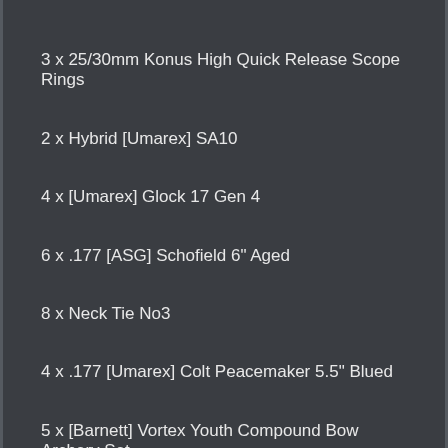3 x 25/30mm Konus High Quick Release Scope Rings
2 x Hybrid [Umarex] SA10
4 x [Umarex] Glock 17 Gen 4
6 x .177 [ASG] Schofield 6" Aged
8 x Neck Tie No3
4 x .177 [Umarex] Colt Peacemaker 5.5" Blued
5 x [Barnett] Vortex Youth Compound Bow Archery Set
7 x Neck Tie No4
2 x .177 [Umarex] Colt SAA 5.5" Nickel